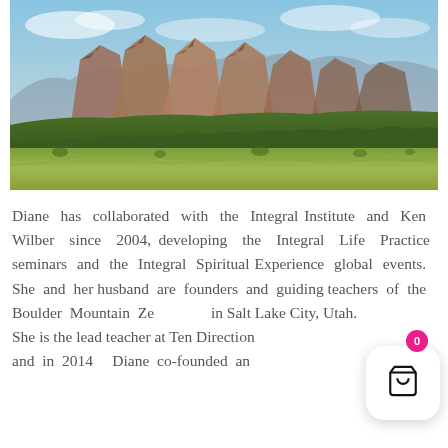[Figure (photo): Landscape photograph of the Flatirons near Boulder, Colorado — dramatic red rock formations rise against a blue sky, with forested foothills and open meadows in the foreground.]
Diane has collaborated with the Integral Institute and Ken Wilber since 2004, developing the Integral Life Practice seminars and the Integral Spiritual Experience global events. She and her husband are founders and guiding teachers of the Boulder Mountain Ze in Salt Lake City, Utah.
She is the lead teacher at Ten Direction and in 2014 Diane co-founded an